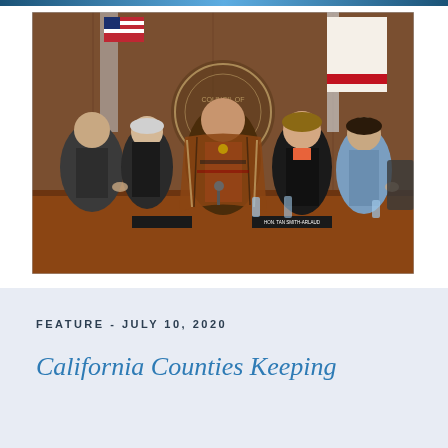[Figure (photo): Group of five people standing at what appears to be a government council chamber. In the center is a man wearing a colorful Native American blanket/shawl over a red shirt. To his left are two people in formal attire applauding, and to his right are two women, one in a black blazer and one in a light blue blazer, also applauding. Behind them is a wooden wall with a government seal and two flags.]
FEATURE - JULY 10, 2020
California Counties Keeping